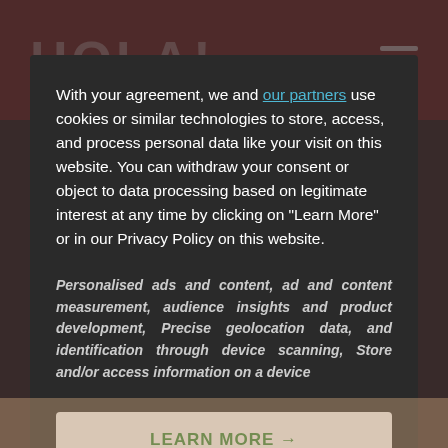[Figure (screenshot): HOLA! magazine website header with dark red/maroon background showing HOLA! logo text and hamburger menu icon]
With your agreement, we and our partners use cookies or similar technologies to store, access, and process personal data like your visit on this website. You can withdraw your consent or object to data processing based on legitimate interest at any time by clicking on "Learn More" or in our Privacy Policy on this website.
Personalised ads and content, ad and content measurement, audience insights and product development, Precise geolocation data, and identification through device scanning, Store and/or access information on a device
LEARN MORE →
Agree and close